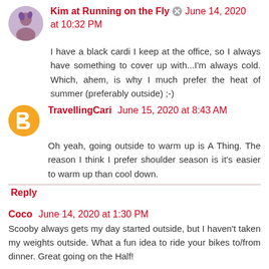Kim at Running on the Fly  June 14, 2020 at 10:32 PM
I have a black cardi I keep at the office, so I always have something to cover up with...I'm always cold. Which, ahem, is why I much prefer the heat of summer (preferably outside) ;-)
TravellingCari  June 15, 2020 at 8:43 AM
Oh yeah, going outside to warm up is A Thing. The reason I think I prefer shoulder season is it's easier to warm up than cool down.
Reply
Coco  June 14, 2020 at 1:30 PM
Scooby always gets my day started outside, but I haven't taken my weights outside. What a fun idea to ride your bikes to/from dinner. Great going on the Half!